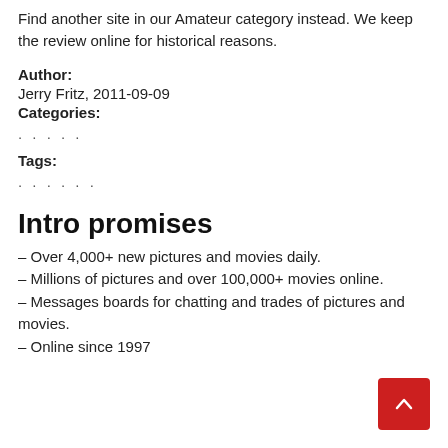Find another site in our Amateur category instead. We keep the review online for historical reasons.
Author:
Jerry Fritz, 2011-09-09
Categories:
. . . . .
Tags:
. . . . . .
Intro promises
– Over 4,000+ new pictures and movies daily.
– Millions of pictures and over 100,000+ movies online.
– Messages boards for chatting and trades of pictures and movies.
– Online since 1997